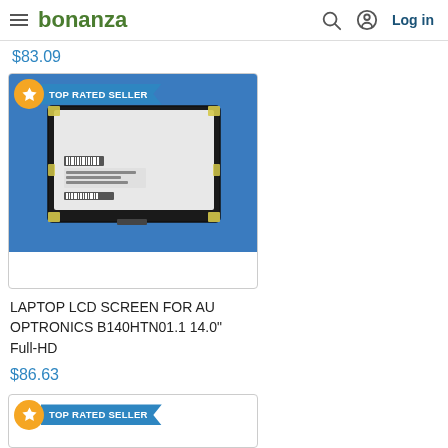bonanza | Log in
$83.09
[Figure (photo): Laptop LCD screen for AU Optronics B140HTN01.1, a bare laptop display panel photographed against a blue background. Shows the back of the panel with mounting brackets and a barcode label.]
LAPTOP LCD SCREEN FOR AU OPTRONICS B140HTN01.1 14.0" Full-HD
$86.63